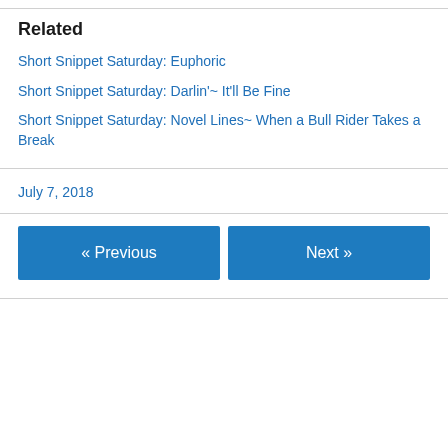Related
Short Snippet Saturday: Euphoric
Short Snippet Saturday: Darlin'~ It'll Be Fine
Short Snippet Saturday: Novel Lines~ When a Bull Rider Takes a Break
July 7, 2018
« Previous
Next »